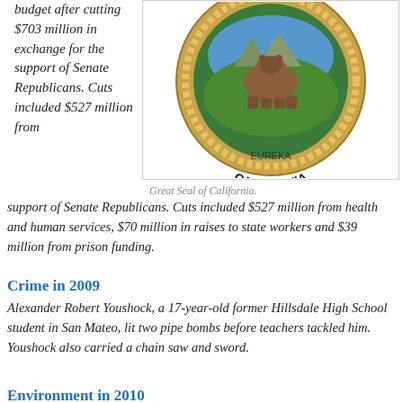budget after cutting $703 million in exchange for the support of Senate Republicans. Cuts included $527 million from health and human services, $70 million in raises to state workers and $39 million from prison funding.
[Figure (illustration): Great Seal of California — partial view showing the bear, mountains, and 'CALIFORNIA' text on the bottom of the seal with golden rope border]
Great Seal of California.
Crime in 2009
Alexander Robert Youshock, a 17-year-old former Hillsdale High School student in San Mateo, lit two pipe bombs before teachers tackled him. Youshock also carried a chain saw and sword.
Environment in 2010